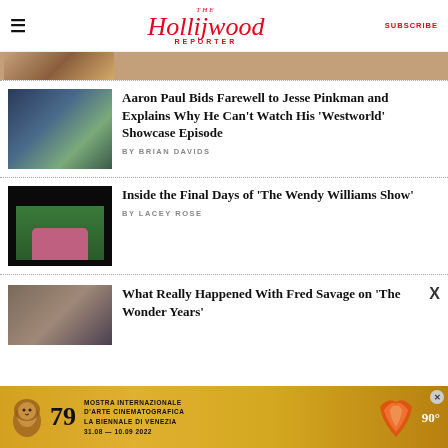The Hollywood Reporter | SUBSCRIBE
[Figure (photo): Partial top image strip showing a scene]
Aaron Paul Bids Farewell to Jesse Pinkman and Explains Why He Can't Watch His 'Westworld' Showcase Episode
BY BRIAN DAVIDS
Inside the Final Days of 'The Wendy Williams Show'
BY LACEY ROSE
What Really Happened With Fred Savage on 'The Wonder Years'
[Figure (photo): Venice Film Festival 79 advertisement — Mostra Internazionale D'Arte Cinematografica La Biennale Di Venezia 31.08 — 10.09 2022]